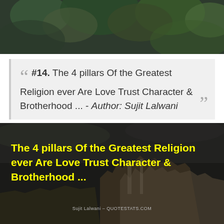[Figure (photo): Dark green foliage/plant background image cropped at top]
#14. The 4 pillars Of the Greatest Religion ever Are Love Trust Character & Brotherhood ... - Author: Sujit Lalwani
[Figure (photo): Dark castle/fortress background image with yellow quote text overlay: 'The 4 pillars Of the Greatest Religion ever Are Love Trust Character & Brotherhood ...' and attribution 'Sujit Lalwani - QUOTESTATS.COM']